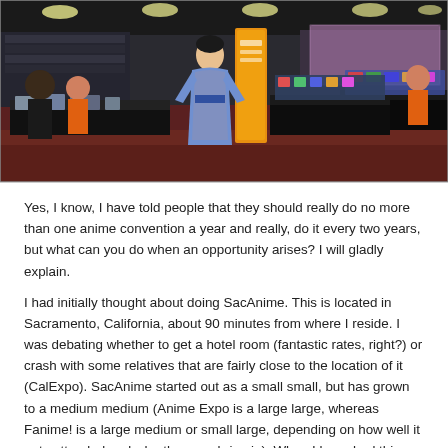[Figure (photo): Interior of an anime convention hall showing vendor booths with merchandise displays, attendees browsing, a person in blue traditional costume, a yellow/orange banner, red carpet flooring, and fluorescent ceiling lights.]
Yes, I know, I have told people that they should really do no more than one anime convention a year and really, do it every two years, but what can you do when an opportunity arises? I will gladly explain.
I had initially thought about doing SacAnime. This is located in Sacramento, California, about 90 minutes from where I reside. I was debating whether to get a hotel room (fantastic rates, right?) or crash with some relatives that are fairly close to the location of it (CalExpo). SacAnime started out as a small small, but has grown to a medium medium (Anime Expo is a large large, whereas Fanime! is a large medium or small large, depending on how well it gets attended and who they can bring in). When I broached this idea to the daughter, as this would occur over the Labor Day weekend, she counter with KrakenCon, which took